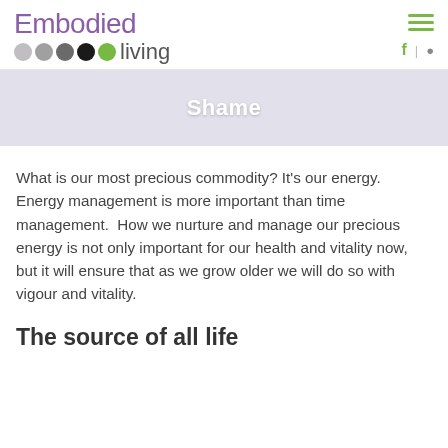[Figure (logo): Embodied Living logo with colored dots and purple/grey text]
Shame
What is our most precious commodity? It's our energy. Energy management is more important than time management.  How we nurture and manage our precious energy is not only important for our health and vitality now, but it will ensure that as we grow older we will do so with vigour and vitality.
The source of all life